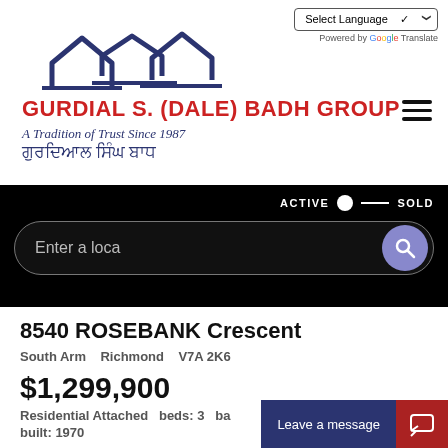[Figure (logo): Gurdial S. (Dale) Badh Group real estate logo with stylized house rooflines in dark navy blue]
GURDIAL S. (DALE) BADH GROUP
A Tradition of Trust Since 1987
ਗੁਰਦਿਆਲ ਸਿੰਘ ਬਾਧ
Select Language (dropdown) | Powered by Google Translate
ACTIVE  ●— SOLD
Enter a loca
8540 ROSEBANK Crescent
South Arm   Richmond   V7A 2K6
$1,299,900
Residential Attached  beds: 3  ba
built: 1970
Leave a message